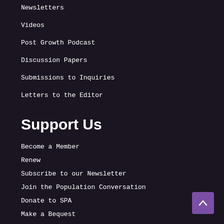Newsletters
Videos
Post Growth Podcast
Discussion Papers
Submissions to Inquiries
Letters to the Editor
Support Us
Become a Member
Renew
Subscribe to our Newsletter
Join the Population Conversation
Donate to SPA
Make a Bequest